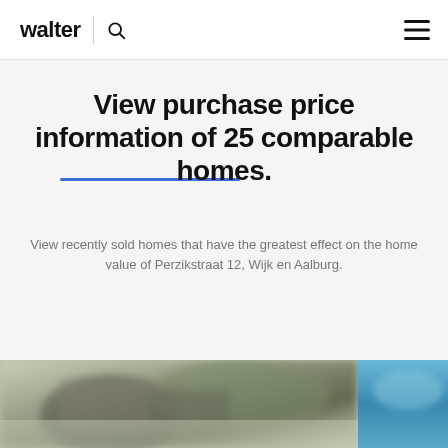walter
View purchase price information of 25 comparable homes.
View recently sold homes that have the greatest effect on the home value of Perzikstraat 12, Wijk en Aalburg.
[Figure (photo): Blurred photo of a house exterior with greenery and roof visible, cropped at bottom of page]
[Figure (photo): Blurred photo with blue sky/exterior, partially visible at right edge of page]